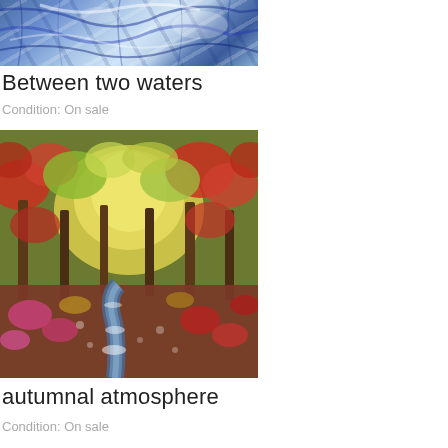[Figure (photo): Partial view of a blue abstract painting with flowing lines and white highlights, cropped at top]
Between two waters
Condition: On sale
[Figure (photo): An impressionist-style painting of an autumn forest scene with colourful red, yellow and green foliage and a stream running through the centre]
autumnal atmosphere
Condition: On sale